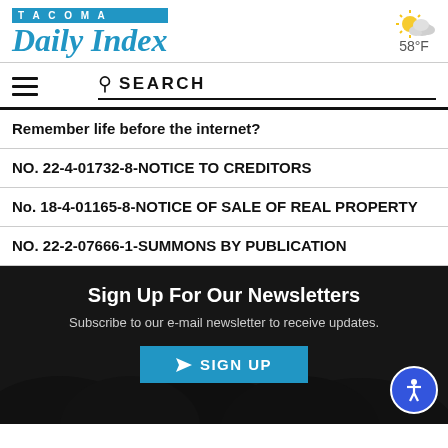TACOMA Daily Index
[Figure (illustration): Partly cloudy weather icon with sun and cloud, showing 58°F]
Remember life before the internet?
NO. 22-4-01732-8-NOTICE TO CREDITORS
No. 18-4-01165-8-NOTICE OF SALE OF REAL PROPERTY
NO. 22-2-07666-1-SUMMONS BY PUBLICATION
Sign Up For Our Newsletters
Subscribe to our e-mail newsletter to receive updates.
SIGN UP